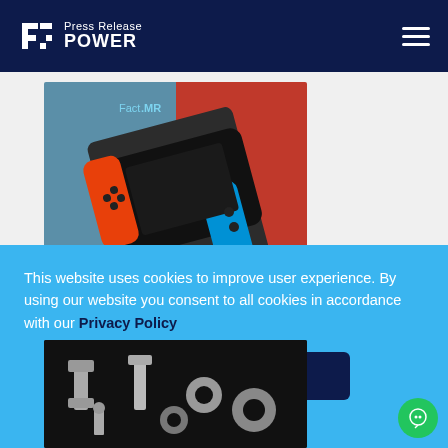Press Release POWER
[Figure (screenshot): Article thumbnail showing a Nintendo Switch-style handheld gaming controller on a half blue, half red background with Fact.MR logo. Text 'TECHNOLOGY' appears at the bottom of the image.]
[Figure (photo): Bottom article thumbnail showing metallic bolts, nuts and fasteners on a dark background.]
This website uses cookies to improve user experience. By using our website you consent to all cookies in accordance with our Privacy Policy
ACCEPT COOKIES